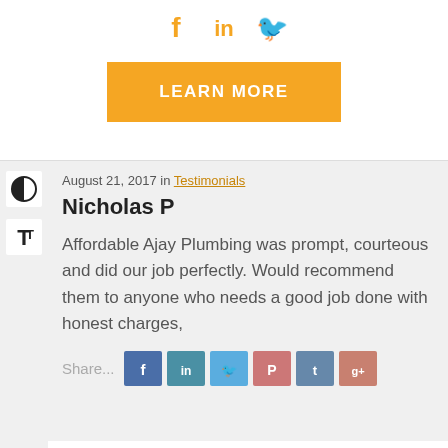[Figure (illustration): Social media icons (Facebook, LinkedIn, Twitter) in orange/gold color at top center]
LEARN MORE
August 21, 2017 in Testimonials
Nicholas P
Affordable Ajay Plumbing was prompt, courteous and did our job perfectly. Would recommend them to anyone who needs a good job done with honest charges,
[Figure (illustration): Share buttons row: Share... label followed by Facebook, LinkedIn, Twitter, Pinterest, Tumblr, Google+ share buttons]